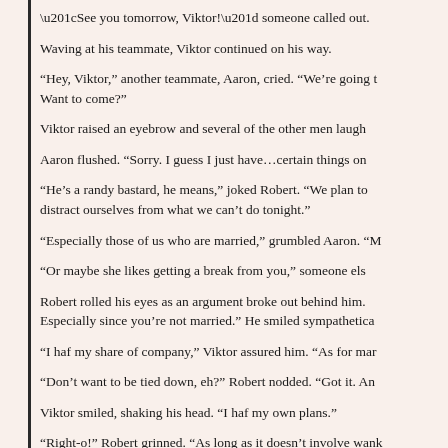“See you tomorrow, Viktor!” someone called out.
Waving at his teammate, Viktor continued on his way.
“Hey, Viktor,” another teammate, Aaron, cried. “We’re going t… Want to come?”
Viktor raised an eyebrow and several of the other men laugh…
Aaron flushed. “Sorry. I guess I just have…certain things on…”
“He’s a randy bastard, he means,” joked Robert. “We plan to… distract ourselves from what we can’t do tonight.”
“Especially those of us who are married,” grumbled Aaron. “M…”
“Or maybe she likes getting a break from you,” someone els…
Robert rolled his eyes as an argument broke out behind him.… Especially since you’re not married.” He smiled sympathetica…
“I haf my share of company,” Viktor assured him. “As for mar…”
“Don’t want to be tied down, eh?” Robert nodded. “Got it. An…”
Viktor smiled, shaking his head. “I haf my own plans.”
“Right-o!” Robert grinned. “As long as it doesn’t involve wank…”
Viktor fingered the team talisman around his neck. “How can… arousal, no?”